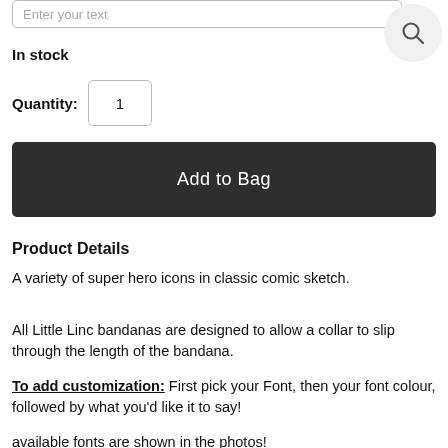Enter your text
In stock
Quantity: 1
Add to Bag
Product Details
A variety of super hero icons in classic comic sketch.
All Little Linc bandanas are designed to allow a collar to slip through the length of the bandana.
To add customization: First pick your Font, then your font colour, followed by what you'd like it to say!
available fonts are shown in the photos!